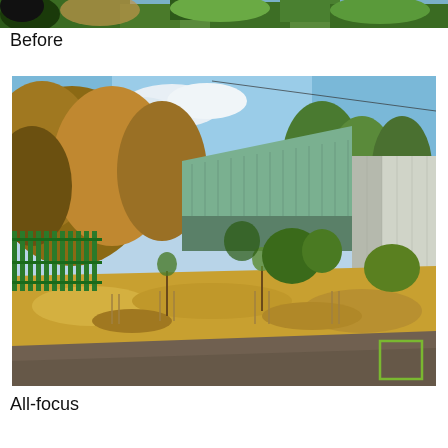[Figure (photo): Partial top strip of an outdoor photo showing trees and greenery against a blue sky, cropped at the top of the page.]
Before
[Figure (photo): Outdoor photograph of an industrial metal-clad building with a sloped green corrugated roof. In front of the building is a grassy embankment with young planted trees supported by stakes. A green metal fence is visible on the left. The foreground shows a tarmac road. Autumn-coloured trees surround the building. A small green rectangle marker is visible in the lower-right corner of the image.]
All-focus